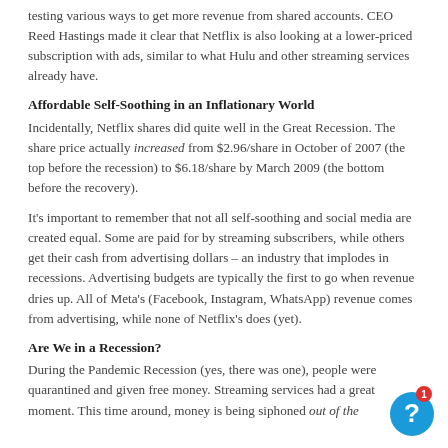testing various ways to get more revenue from shared accounts. CEO Reed Hastings made it clear that Netflix is also looking at a lower-priced subscription with ads, similar to what Hulu and other streaming services already have.
Affordable Self-Soothing in an Inflationary World
Incidentally, Netflix shares did quite well in the Great Recession. The share price actually increased from $2.96/share in October of 2007 (the top before the recession) to $6.18/share by March 2009 (the bottom before the recovery).
It’s important to remember that not all self-soothing and social media are created equal. Some are paid for by streaming subscribers, while others get their cash from advertising dollars – an industry that implodes in recessions. Advertising budgets are typically the first to go when revenue dries up. All of Meta’s (Facebook, Instagram, WhatsApp) revenue comes from advertising, while none of Netflix’s does (yet).
Are We in a Recession?
During the Pandemic Recession (yes, there was one), people were quarantined and given free money. Streaming services had a great moment. This time around, money is being siphoned out of the